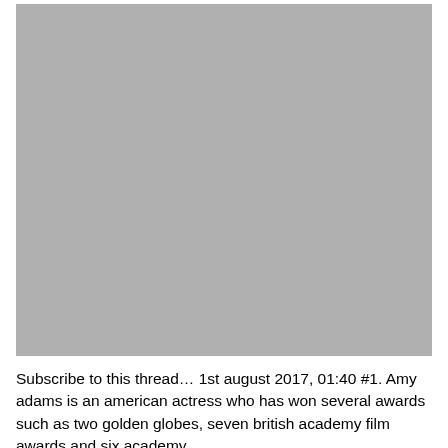[Figure (photo): Large gray placeholder image occupying the upper portion of the page]
Subscribe to this thread… 1st august 2017, 01:40 #1. Amy adams is an american actress who has won several awards such as two golden globes, seven british academy film awards and six academy